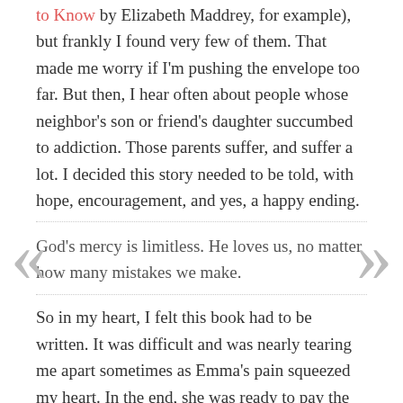to Know by Elizabeth Maddrey, for example), but frankly I found very few of them. That made me worry if I'm pushing the envelope too far. But then, I hear often about people whose neighbor's son or friend's daughter succumbed to addiction. Those parents suffer, and suffer a lot. I decided this story needed to be told, with hope, encouragement, and yes, a happy ending.
God's mercy is limitless. He loves us, no matter how many mistakes we make.
So in my heart, I felt this book had to be written. It was difficult and was nearly tearing me apart sometimes as Emma's pain squeezed my heart. In the end, she was ready to pay the ultimate price for her son's life.